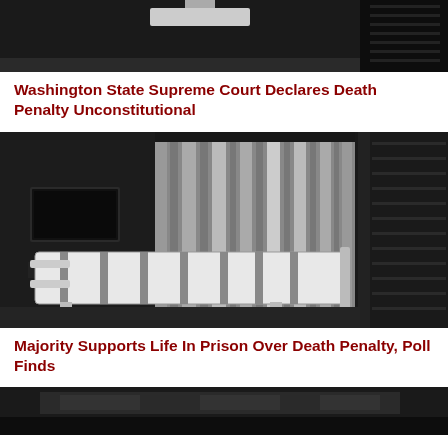[Figure (photo): Black and white photo showing the top portion of what appears to be a prison or institutional room, partially visible at the top of the page]
Washington State Supreme Court Declares Death Penalty Unconstitutional
[Figure (photo): Black and white fisheye lens photo of a lethal injection chamber showing a gurney/table with restraints in the center, curtains on the right, and a viewing window on the left]
Majority Supports Life In Prison Over Death Penalty, Poll Finds
[Figure (photo): Black and white photo of what appears to be another prison or execution chamber interior, partially cropped at the bottom of the page]